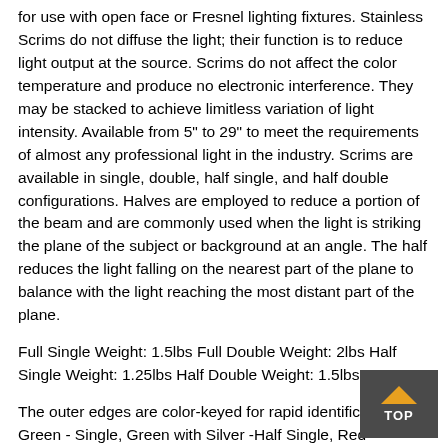for use with open face or Fresnel lighting fixtures. Stainless Scrims do not diffuse the light; their function is to reduce light output at the source. Scrims do not affect the color temperature and produce no electronic interference. They may be stacked to achieve limitless variation of light intensity. Available from 5" to 29" to meet the requirements of almost any professional light in the industry. Scrims are available in single, double, half single, and half double configurations. Halves are employed to reduce a portion of the beam and are commonly used when the light is striking the plane of the subject or background at an angle. The half reduces the light falling on the nearest part of the plane to balance with the light reaching the most distant part of the plane.
Full Single Weight: 1.5lbs Full Double Weight: 2lbs Half Single Weight: 1.25lbs Half Double Weight: 1.5lbs
The outer edges are color-keyed for rapid identification: Green - Single, Green with Silver -Half Single, Red - Double, and Red with Silver - Half Double